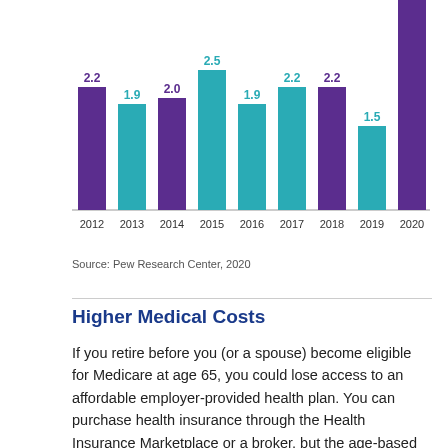[Figure (bar-chart): ]
Source: Pew Research Center, 2020
Higher Medical Costs
If you retire before you (or a spouse) become eligible for Medicare at age 65, you could lose access to an affordable employer-provided health plan. You can purchase health insurance through the Health Insurance Marketplace or a broker, but the age-based premiums are more expensive for older applicants. For two 60-year-olds with a household income of $100,000, the average premium for a